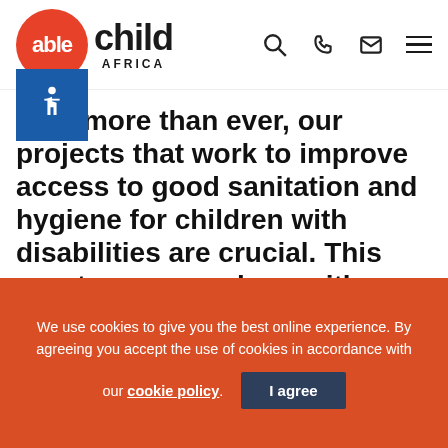[Figure (logo): Able Child Africa logo: red circle with 'able' text, 'child' in bold black, 'AFRICA' in spaced caps below, blue accessibility icon box]
Now more than ever, our projects that work to improve access to good sanitation and hygiene for children with disabilities are crucial. This quarter we can share with you the completed designs for our educational comic
We use cookies to give you the best online experience. By agreeing you accept the use of cookies in accordance with our cookie policy. I agree